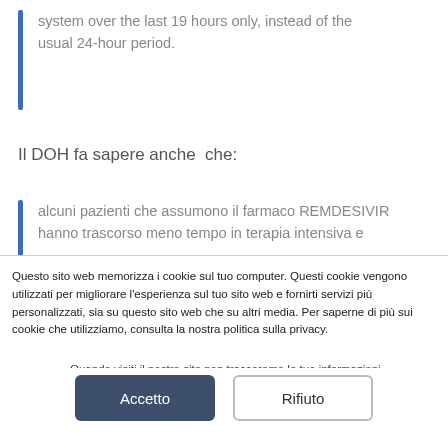system over the last 19 hours only, instead of the usual 24-hour period.
Il DOH fa sapere anche  che:
alcuni pazienti che assumono il farmaco REMDESIVIR hanno trascorso meno tempo in terapia intensiva e
Questo sito web memorizza i cookie sul tuo computer. Questi cookie vengono utilizzati per migliorare l'esperienza sul tuo sito web e fornirti servizi più personalizzati, sia su questo sito web che su altri media. Per saperne di più sui cookie che utilizziamo, consulta la nostra politica sulla privacy.
Quando visiti il nostro sito non tracceremo le tue informazioni. Tuttavia, per poter rispettare le tue preferenze, dovremo utilizzare solo un piccolo cookie in modo che non ti venga chiesto di effettuare nuovamente questa scelta.